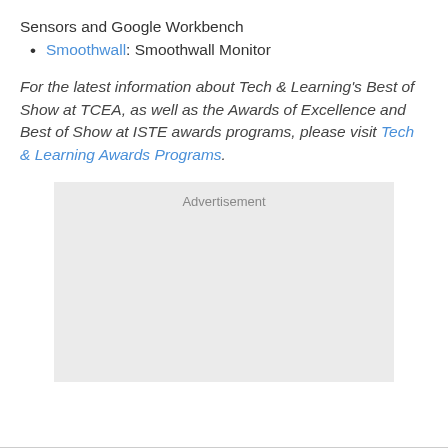Sensors and Google Workbench
Smoothwall: Smoothwall Monitor
For the latest information about Tech & Learning's Best of Show at TCEA, as well as the Awards of Excellence and Best of Show at ISTE awards programs, please visit Tech & Learning Awards Programs.
[Figure (other): Advertisement placeholder box with gray background]